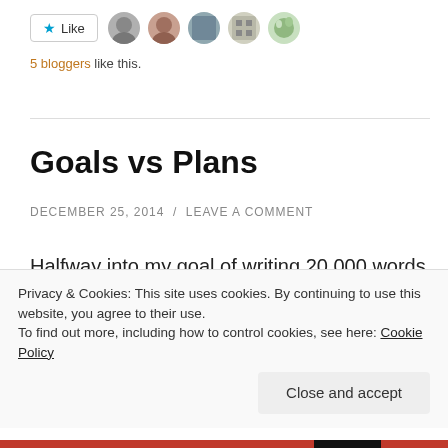[Figure (other): Like button with star icon and 5 blogger avatars]
5 bloggers like this.
Goals vs Plans
DECEMBER 25, 2014 / LEAVE A COMMENT
Halfway into my goal of writing 20,000 words by the end of the year, I have to admit that I am on track only because I've had one stellar day of writing. I've had two
Privacy & Cookies: This site uses cookies. By continuing to use this website, you agree to their use.
To find out more, including how to control cookies, see here: Cookie Policy
Close and accept